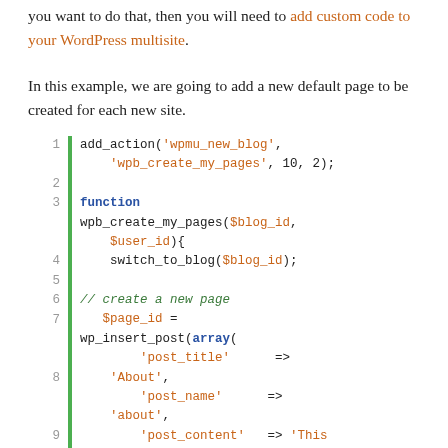you want to do that, then you will need to add custom code to your WordPress multisite.
In this example, we are going to add a new default page to be created for each new site.